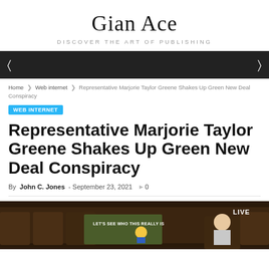Gian Ace
DISCOVER THE ART OF PUBLISHING
Home · Web internet · Representative Marjorie Taylor Greene Shakes Up Green New Deal Conspiracy
WEB INTERNET
Representative Marjorie Taylor Greene Shakes Up Green New Deal Conspiracy
By John C. Jones - September 23, 2021  0
[Figure (photo): Video screenshot labeled LIVE showing Representative Marjorie Taylor Greene on the House floor holding a sign that reads LET'S SEE WHO THIS REALLY IS with a cartoon figure in a Green New Deal context.]